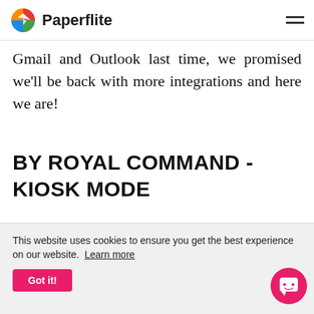Paperflite
Gmail and Outlook last time, we promised we'll be back with more integrations and here we are!
BY ROYAL COMMAND - KIOSK MODE
Now our iPad app is equipped to put
This website uses cookies to ensure you get the best experience on our website. Learn more